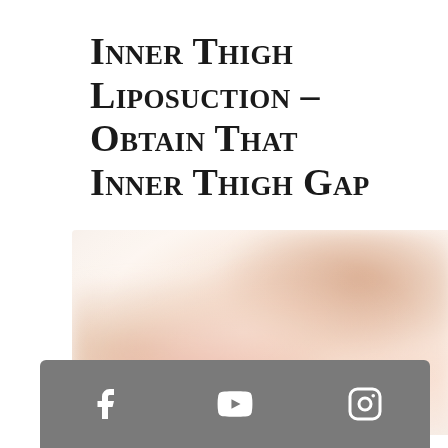Inner Thigh Liposuction – Obtain That Inner Thigh Gap
[Figure (photo): Blurred close-up photo of a person's inner thighs showing skin/body area related to liposuction content]
Social media icons: Facebook, YouTube, Instagram